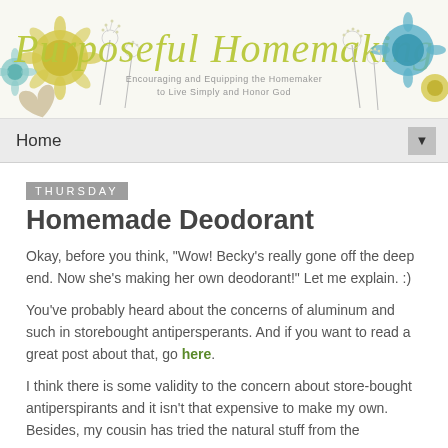[Figure (illustration): Purposeful Homemaking blog header banner with decorative flowers/dandelions on left and right sides, script title text 'Purposeful Homemaking' in olive/yellow-green, subtitle 'Encouraging and Equipping the Homemaker to Live Simply and Honor God']
Home ▼
Thursday
Homemade Deodorant
Okay, before you think, "Wow! Becky's really gone off the deep end. Now she's making her own deodorant!" Let me explain. :)
You've probably heard about the concerns of aluminum and such in storebought antipersperants. And if you want to read a great post about that, go here.
I think there is some validity to the concern about store-bought antiperspirants and it isn't that expensive to make my own. Besides, my cousin has tried the natural stuff from the